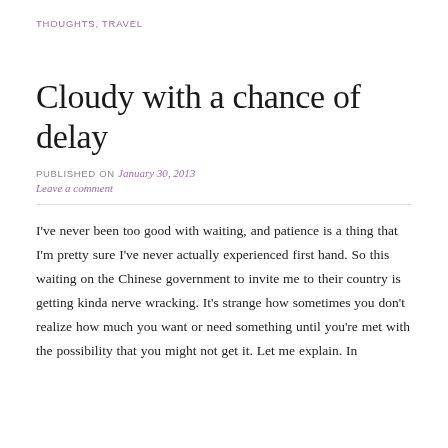THOUGHTS, TRAVEL
Cloudy with a chance of delay
PUBLISHED ON January 30, 2013
Leave a comment
I've never been too good with waiting, and patience is a thing that I'm pretty sure I've never actually experienced first hand. So this waiting on the Chinese government to invite me to their country is getting kinda nerve wracking. It's strange how sometimes you don't realize how much you want or need something until you're met with the possibility that you might not get it. Let me explain. In